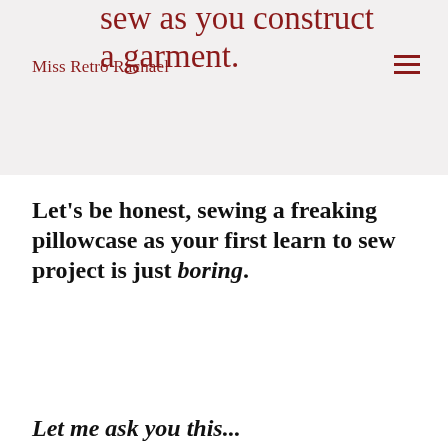sew as you construct a garment.
Miss Retro Rachael
Let's be honest, sewing a freaking pillowcase as your first learn to sew project is just boring.
Let me ask you this...